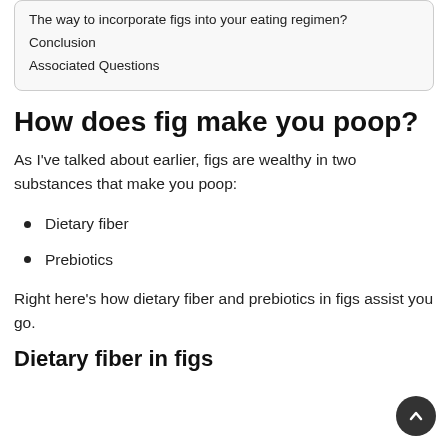The way to incorporate figs into your eating regimen?
Conclusion
Associated Questions
How does fig make you poop?
As I've talked about earlier, figs are wealthy in two substances that make you poop:
Dietary fiber
Prebiotics
Right here's how dietary fiber and prebiotics in figs assist you go.
Dietary fiber in figs